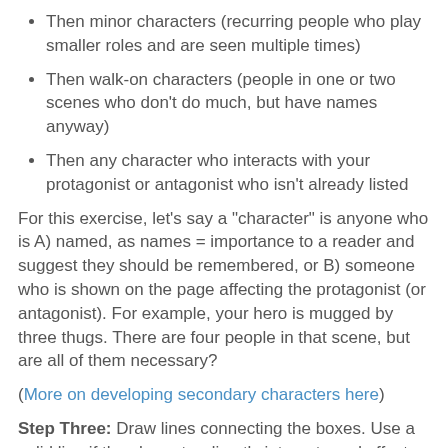Then minor characters (recurring people who play smaller roles and are seen multiple times)
Then walk-on characters (people in one or two scenes who don't do much, but have names anyway)
Then any character who interacts with your protagonist or antagonist who isn't already listed
For this exercise, let's say a "character" is anyone who is A) named, as names = importance to a reader and suggest they should be remembered, or B) someone who is shown on the page affecting the protagonist (or antagonist). For example, your hero is mugged by three thugs. There are four people in that scene, but are all of them necessary?
(More on developing secondary characters here)
Step Three: Draw lines connecting the boxes. Use a solid line if the character directly interacts and affects the protagonist, or a dotted line if they are connected more to someone else connected to the protagonist. For example, when your hero is mugged by three thugs, and only one